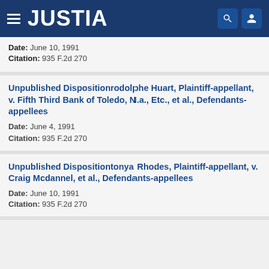JUSTIA
Date: June 10, 1991
Citation: 935 F.2d 270
Unpublished Dispositionrodolphe Huart, Plaintiff-appellant, v. Fifth Third Bank of Toledo, N.a., Etc., et al., Defendants-appellees
Date: June 4, 1991
Citation: 935 F.2d 270
Unpublished Dispositiontonya Rhodes, Plaintiff-appellant, v. Craig Mcdannel, et al., Defendants-appellees
Date: June 10, 1991
Citation: 935 F.2d 270